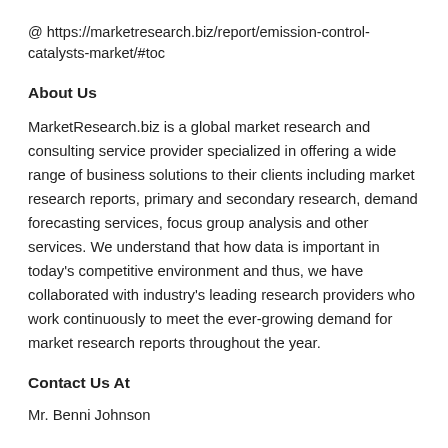@ https://marketresearch.biz/report/emission-control-catalysts-market/#toc
About Us
MarketResearch.biz is a global market research and consulting service provider specialized in offering a wide range of business solutions to their clients including market research reports, primary and secondary research, demand forecasting services, focus group analysis and other services. We understand that how data is important in today’s competitive environment and thus, we have collaborated with industry’s leading research providers who work continuously to meet the ever-growing demand for market research reports throughout the year.
Contact Us At
Mr. Benni Johnson